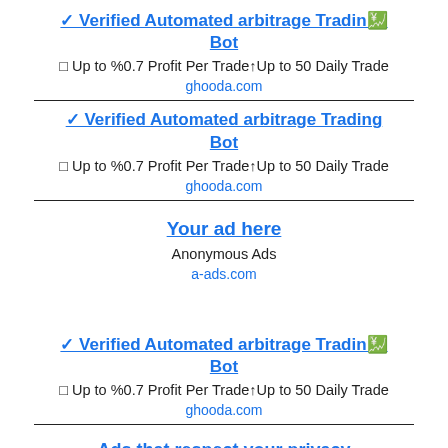✓ Verified Automated arbitrage Trading Bot — Up to %0.7 Profit Per Trade↑Up to 50 Daily Trade — ghooda.com
✓ Verified Automated arbitrage Trading Bot — Up to %0.7 Profit Per Trade↑Up to 50 Daily Trade — ghooda.com
Your ad here — Anonymous Ads — a-ads.com
✓ Verified Automated arbitrage Trading Bot — Up to %0.7 Profit Per Trade↑Up to 50 Daily Trade — ghooda.com
Ads that respect your privacy — Earn bitcoins or advertise your business — a-ads.com